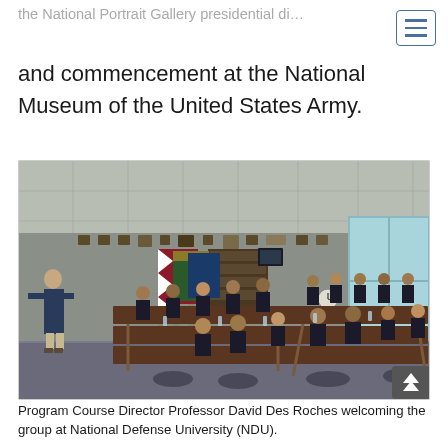the National Portrait Gallery presidential di… and commencement at the National Museum of the United States Army.
[Figure (photo): A speaker (Professor David Des Roches) stands at the front of a conference room before a large group of men in dark suits seated at long tables, with flags including a Qatar flag visible behind the speaker. The room has plaques and awards on the walls and a clock on the right wall.]
Program Course Director Professor David Des Roches welcoming the group at National Defense University (NDU).